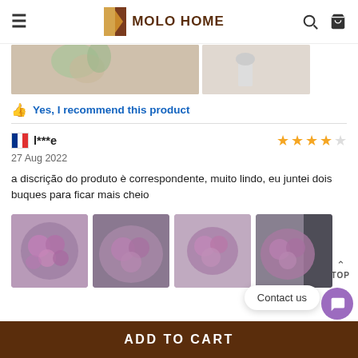MOLO HOME
[Figure (photo): Two product photos at top: flower arrangement and vase on table]
Yes, I recommend this product
l***e
27 Aug 2022
a discrição do produto è correspondente, muito lindo, eu juntei dois buques para ficar mais cheio
[Figure (photo): Four photos of purple flower bouquets from the reviewer]